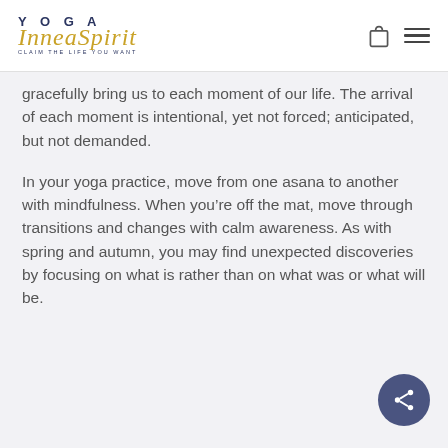YOGA InnerSpirit — CLAIM THE LIFE YOU WANT
gracefully bring us to each moment of our life. The arrival of each moment is intentional, yet not forced; anticipated, but not demanded.
In your yoga practice, move from one asana to another with mindfulness. When you're off the mat, move through transitions and changes with calm awareness. As with spring and autumn, you may find unexpected discoveries by focusing on what is rather than on what was or what will be.